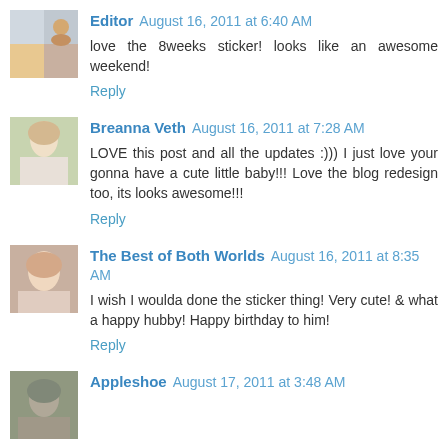Editor August 16, 2011 at 6:40 AM
love the 8weeks sticker! looks like an awesome weekend!
Reply
Breanna Veth August 16, 2011 at 7:28 AM
LOVE this post and all the updates :))) I just love your gonna have a cute little baby!!! Love the blog redesign too, its looks awesome!!!
Reply
The Best of Both Worlds August 16, 2011 at 8:35 AM
I wish I woulda done the sticker thing! Very cute! & what a happy hubby! Happy birthday to him!
Reply
Appleshoe August 17, 2011 at 3:48 AM